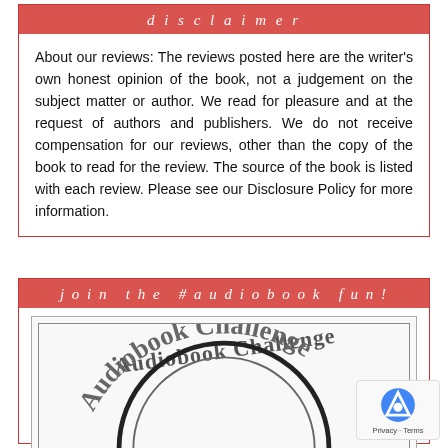disclaimer
About our reviews: The reviews posted here are the writer's own honest opinion of the book, not a judgement on the subject matter or author. We read for pleasure and at the request of authors and publishers. We do not receive compensation for our reviews, other than the copy of the book to read for the review. The source of the book is listed with each review. Please see our Disclosure Policy for more information.
join the #audiobook fun!
[Figure (illustration): Audiobook Challenge badge/logo with curved text 'Audiobook Challenge' and a circular design element at the bottom]